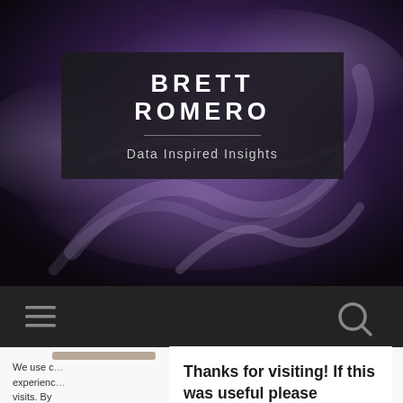[Figure (screenshot): Website header with purple smoke background]
BRETT ROMERO
Data Inspired Insights
[Figure (illustration): Navigation bar with hamburger menu icon and search icon on dark background]
Thanks for visiting! If this was useful please consider supporting this website!
We use cookies on our website to give you the most relevant experience by remembering your preferences and repeat visits. By clicking "Accept", you consent to the use of cookies.
Cookie settings
ACCEPT